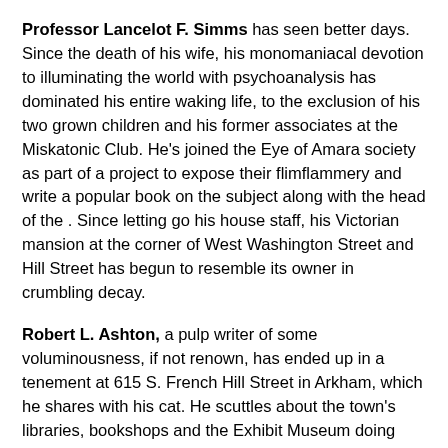Professor Lancelot F. Simms has seen better days. Since the death of his wife, his monomaniacal devotion to illuminating the world with psychoanalysis has dominated his entire waking life, to the exclusion of his two grown children and his former associates at the Miskatonic Club. He's joined the Eye of Amara society as part of a project to expose their flimflammery and write a popular book on the subject along with the head of the . Since letting go his house staff, his Victorian mansion at the corner of West Washington Street and Hill Street has begun to resemble its owner in crumbling decay.
Robert L. Ashton, a pulp writer of some voluminousness, if not renown, has ended up in a tenement at 615 S. French Hill Street in Arkham, which he shares with his cat. He scuttles about the town's libraries, bookshops and the Exhibit Museum doing research and seeking inspiration for his weird adventure tales.